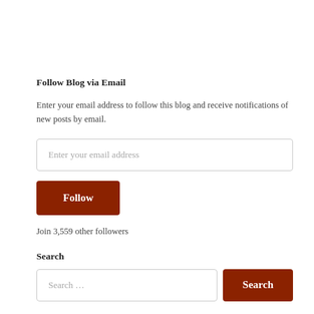Follow Blog via Email
Enter your email address to follow this blog and receive notifications of new posts by email.
Enter your email address
Follow
Join 3,559 other followers
Search
Search ...
Search